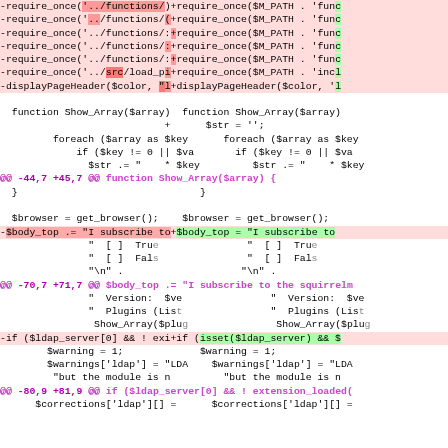[Figure (screenshot): A code diff view showing PHP source code changes side-by-side with red (removed) and green (added) highlighted lines, purple diff markers, and inline highlights.]